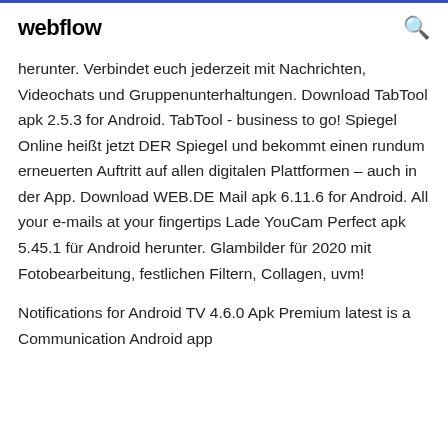webflow
herunter. Verbindet euch jederzeit mit Nachrichten, Videochats und Gruppenunterhaltungen. Download TabTool apk 2.5.3 for Android. TabTool - business to go! Spiegel Online heißt jetzt DER Spiegel und bekommt einen rundum erneuerten Auftritt auf allen digitalen Plattformen – auch in der App. Download WEB.DE Mail apk 6.11.6 for Android. All your e-mails at your fingertips Lade YouCam Perfect apk 5.45.1 für Android herunter. Glambilder für 2020 mit Fotobearbeitung, festlichen Filtern, Collagen, uvm!
Notifications for Android TV 4.6.0 Apk Premium latest is a Communication Android app